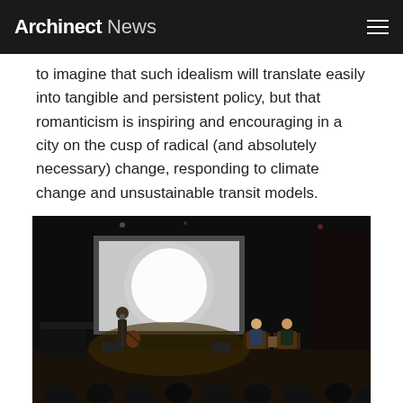Archinect News
to imagine that such idealism will translate easily into tangible and persistent policy, but that romanticism is inspiring and encouraging in a city on the cusp of radical (and absolutely necessary) change, responding to climate change and unsustainable transit models.
[Figure (photo): Dark theater/auditorium scene with a large projection screen showing a bright white circle. A musician plays guitar on the left side of the stage, while two people sit in chairs on the right side of the stage in conversation. An audience is visible in the foreground.]